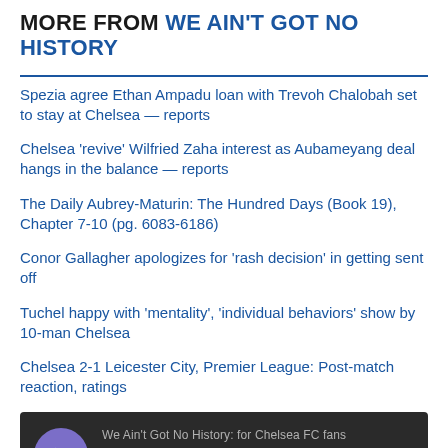MORE FROM WE AIN'T GOT NO HISTORY
Spezia agree Ethan Ampadu loan with Trevoh Chalobah set to stay at Chelsea — reports
Chelsea 'revive' Wilfried Zaha interest as Aubameyang deal hangs in the balance — reports
The Daily Aubrey-Maturin: The Hundred Days (Book 19), Chapter 7-10 (pg. 6083-6186)
Conor Gallagher apologizes for 'rash decision' in getting sent off
Tuchel happy with 'mentality', 'individual behaviors' show by 10-man Chelsea
Chelsea 2-1 Leicester City, Premier League: Post-match reaction, ratings
[Figure (other): Podcast player widget with dark background showing 'We Ain't Got No History: for Chelsea FC fans' source, title 'We Ain't Got No Podcast: Episode 62 - T...', play button, and description 'Host Jay Woolmington and guest Julian Bravo discuss Chelsea's victory against Leicester.']